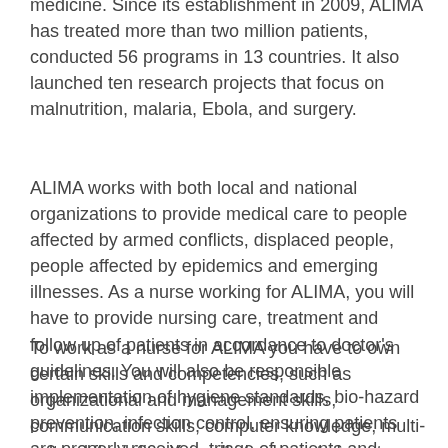medicine. Since its establishment in 2009, ALIMA has treated more than two million patients, conducted 56 programs in 13 countries. It also launched ten research projects that focus on malnutrition, malaria, Ebola, and surgery.
ALIMA works with both local and national organizations to provide medical care to people affected by armed conflicts, displaced people, people affected by epidemics and emerging illnesses. As a nurse working for ALIMA, you will have to provide nursing care, treatment and follow up of patients in accordance to doctor's guidelines. You will also be responsible implementation of hygiene standards, bio-hazard prevention, infection control, ensuring patients are properly received, triage of patients and similar.
To work as a nurse for ALIMA you have to own certain skills and competencies, such as organizational and management skills, communication skills, computer knowledge, multi-cultural flexibility. You will also have to be a team player and be able to cope and manage stressful situations. If you are interested in working as a nurse for ALIMA, you can keep